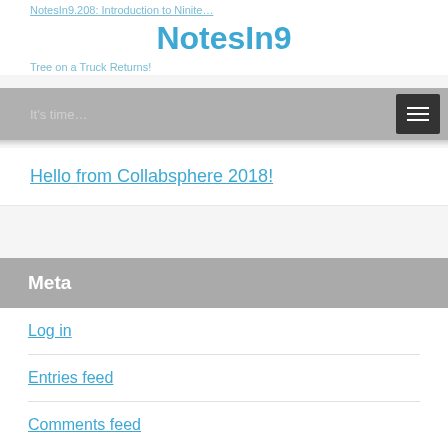NotesIn9.208: Introduction to Ninite…
NotesIn9
Tree on a Truck Returns!
It's time…
Hello from Collabsphere 2018!
Meta
Log in
Entries feed
Comments feed
WordPress.org